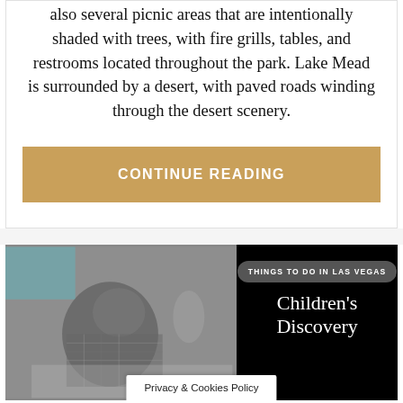also several picnic areas that are intentionally shaded with trees, with fire grills, tables, and restrooms located throughout the park. Lake Mead is surrounded by a desert, with paved roads winding through the desert scenery.
CONTINUE READING
[Figure (photo): Black and white photo of a child leaning over a desk writing or drawing, wearing a plaid shirt. Upper left has a teal/turquoise color. Right side has black background with white text reading 'Children's Discovery' and a badge reading 'THINGS TO DO IN LAS VEGAS'.]
THINGS TO DO IN LAS VEGAS
Children's Discovery
Privacy & Cookies Policy